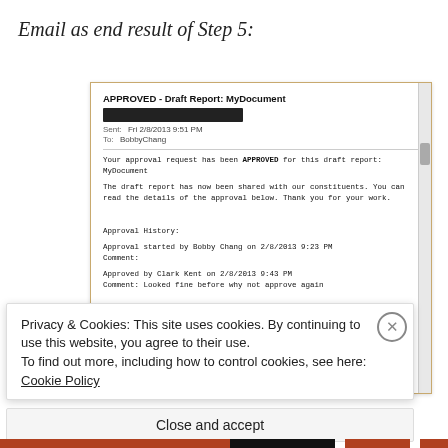Email as end result of Step 5:
[Figure (screenshot): Screenshot of an email client showing an approved draft report notification email. Subject: APPROVED - Draft Report: MyDocument. Sent: Fri 2/8/2013 9:51 PM. To: BobbyChang. Body: Your approval request has been APPROVED for this draft report: MyDocument. The draft report has now been shared with our constituents. You can read the details of the approval below. Thank you for your work. Approval History: Approval started by Bobby Chang on 2/8/2013 9:23 PM. Comment: Approved by Clark Kent on 2/8/2013 9:43 PM. Comment: Looked fine before why not approve again]
Privacy & Cookies: This site uses cookies. By continuing to use this website, you agree to their use. To find out more, including how to control cookies, see here: Cookie Policy
Close and accept